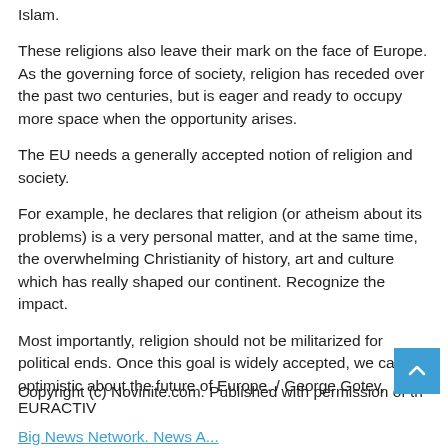Islam.
These religions also leave their mark on the face of Europe. As the governing force of society, religion has receded over the past two centuries, but is eager and ready to occupy more space when the opportunity arises.
The EU needs a generally accepted notion of religion and society.
For example, he declares that religion (or atheism about its problems) is a very personal matter, and at the same time, the overwhelming Christianity of history, art and culture which has really shaped our continent. Recognize the impact.
Most importantly, religion should not be militarized for political ends. Once this goal is widely accepted, we can be optimistic about the future of Europe. / George Gotev, EURACTIV
Copyright (c) Novinite.com. Published with permission of the Big News Network. News A...